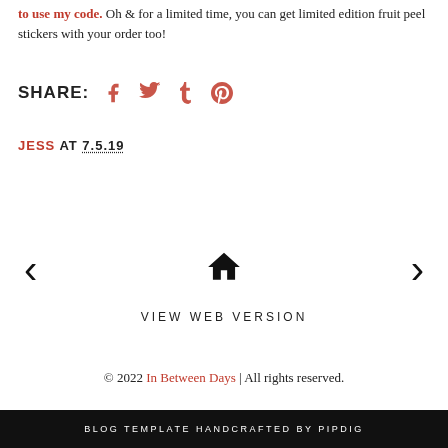to use my code. Oh & for a limited time, you can get limited edition fruit peel stickers with your order too!
SHARE: [social icons: Facebook, Twitter, Tumblr, Pinterest]
JESS AT 7.5.19
< [home icon] >
VIEW WEB VERSION
© 2022 In Between Days | All rights reserved.
BLOG TEMPLATE HANDCRAFTED BY pipdig